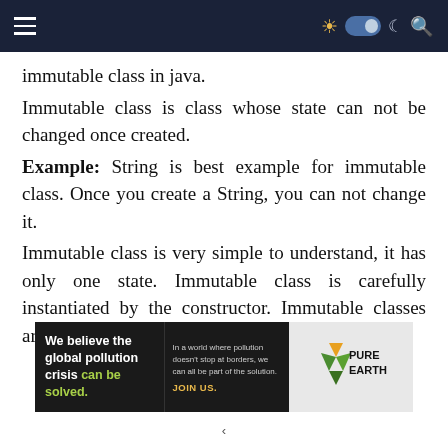Navigation bar with hamburger menu and icons
immutable class in java.
Immutable class is class whose state can not be changed once created.
Example: String is best example for immutable class. Once you create a String, you can not change it.
Immutable class is very simple to understand, it has only one state. Immutable class is carefully instantiated by the constructor. Immutable classes are thread safe. This is biggest
[Figure (infographic): Pure Earth advertisement banner: 'We believe the global pollution crisis can be solved. In a world where pollution doesn't stop at borders, we can all be part of the solution. JOIN US.' with Pure Earth logo]